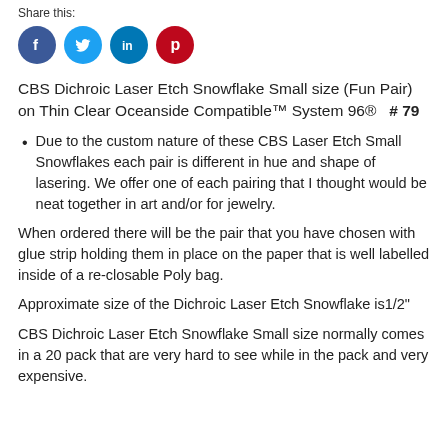Share this:
[Figure (illustration): Four social media share icons in circles: Facebook (blue), Twitter (teal/blue), LinkedIn (blue), Pinterest (red)]
CBS Dichroic Laser Etch Snowflake Small size (Fun Pair) on Thin Clear Oceanside Compatible™ System 96®   # 79
Due to the custom nature of these CBS Laser Etch Small Snowflakes each pair is different in hue and shape of lasering.  We offer one of each pairing that I thought would be neat together in art and/or for jewelry.
When ordered there will be the pair that you have chosen with glue strip holding them in place on the paper that is well labelled inside of a re-closable Poly bag.
Approximate size of the Dichroic Laser Etch Snowflake is1/2"
CBS Dichroic Laser Etch Snowflake Small size normally comes in a 20 pack that are very hard to see while in the pack and very expensive.